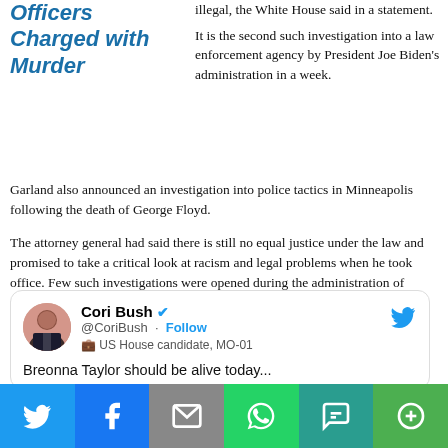Officers Charged with Murder
illegal, the White House said in a statement.
It is the second such investigation into a law enforcement agency by President Joe Biden's administration in a week.
Garland also announced an investigation into police tactics in Minneapolis following the death of George Floyd.
The attorney general had said there is still no equal justice under the law and promised to take a critical look at racism and legal problems when he took office. Few such investigations were opened during the administration of former President Donald Trump.
Cori Bush @CoriBush · Follow US House candidate, MO-01 Breonna Taylor should be alive today
[Figure (screenshot): Social media share bar with Twitter, Facebook, Email, WhatsApp, SMS, and More buttons]